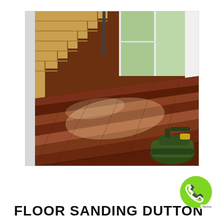[Figure (photo): Interior photo showing a freshly sanded and polished hardwood timber floor in a home. The floor has rich reddish-brown tones with reflective sheen. On the left is a wooden staircase with golden-toned timber treads. Large windows in the background show green trees outside. A green floor sanding machine is visible in the bottom right corner.]
FLOOR SANDING DUTTON